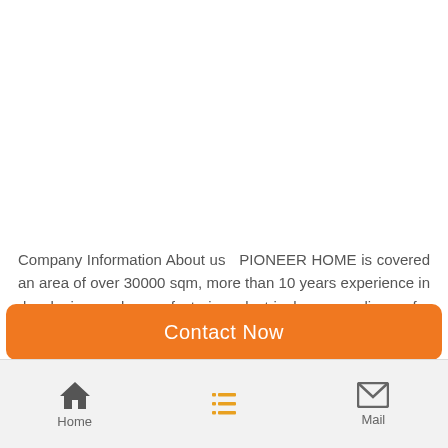Company Information About us   PIONEER HOME is covered an area of over 30000 sqm, more than 10 years experience in developing and manufacturing electric home appliance for kitchen and home use.   PIONEER HOME is a manufacturer of kitchen appliances with well-equiped testing facilities and strong technical force, 5-8 R&D engineers are included.   With a wide range, good
Contact Now
Home | (list icon) | Mail